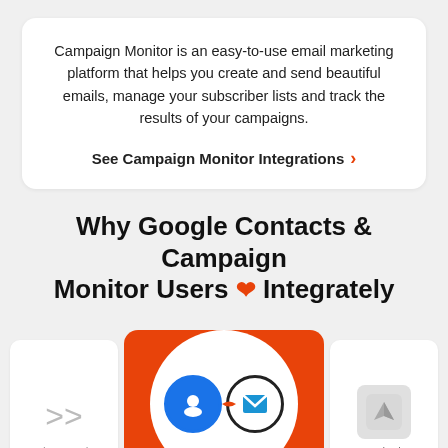Campaign Monitor is an easy-to-use email marketing platform that helps you create and send beautiful emails, manage your subscriber lists and track the results of your campaigns.
See Campaign Monitor Integrations >
Why Google Contacts & Campaign Monitor Users ❤ Integrately
[Figure (infographic): Integration diagram showing ActiveCampaign card on left, central orange card with Google Contacts and Campaign Monitor icons connected, and Aeroleads card on right]